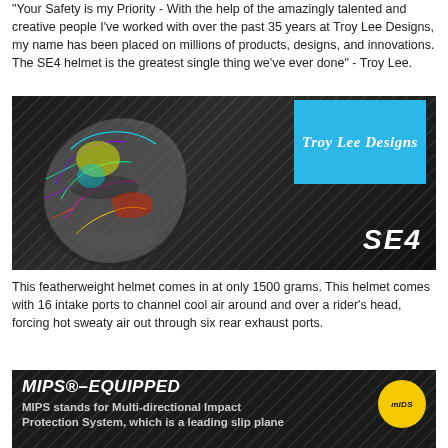"Your Safety is my Priority - With the help of the amazingly talented and creative people I've worked with over the past 35 years at Troy Lee Designs, my name has been placed on millions of products, designs, and innovations. The SE4 helmet is the greatest single thing we've ever done" - Troy Lee.
[Figure (photo): SE4 helmet by Troy Lee Designs shown as a cutaway/exploded view revealing internal components with colorful wiring and padding details, against a dark diagonal striped background. Blue box in upper right with Troy Lee Designs cursive logo. SE4 text in bottom right.]
This featherweight helmet comes in at only 1500 grams. This helmet comes with 16 intake ports to channel cool air around and over a rider's head, forcing hot sweaty air out through six rear exhaust ports.
[Figure (infographic): MIPS-EQUIPPED banner on dark background. Bold italic white text reads MIPS®-EQUIPPED. Below: MIPS stands for Multi-directional Impact Protection System, which is a leading slip plane. Yellow circular MIPS logo on right side.]